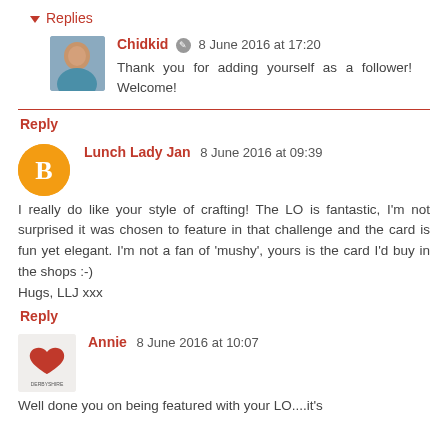▼ Replies
Chidkid ✏ 8 June 2016 at 17:20
Thank you for adding yourself as a follower! Welcome!
Reply
Lunch Lady Jan 8 June 2016 at 09:39
I really do like your style of crafting! The LO is fantastic, I'm not surprised it was chosen to feature in that challenge and the card is fun yet elegant. I'm not a fan of 'mushy', yours is the card I'd buy in the shops :-)
Hugs, LLJ xxx
Reply
Annie 8 June 2016 at 10:07
Well done you on being featured with your LO....it's